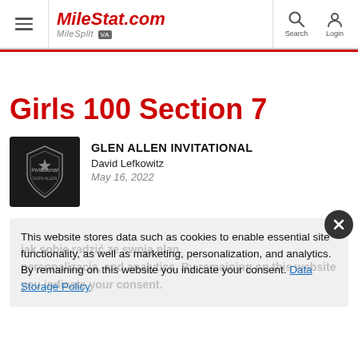MileStat.com MileSplit VA
Girls 100 Section 7
GLEN ALLEN INVITATIONAL
David Lefkowitz
May 16, 2022
This website stores data such as cookies to enable essential site functionality, as well as marketing, personalization, and analytics. By remaining on this website you indicate your consent. Data Storage Policy